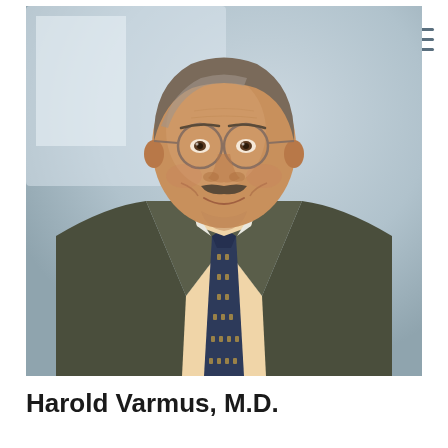[Figure (photo): Professional headshot of Harold Varmus, M.D. — an older man with short grey-brown hair, round wire-rimmed glasses, and a mustache. He is smiling and wearing a dark olive/grey suit jacket, light peach dress shirt, and a patterned dark blue and gold tie. The background is a soft, blurred blue-grey gradient.]
Harold Varmus, M.D.